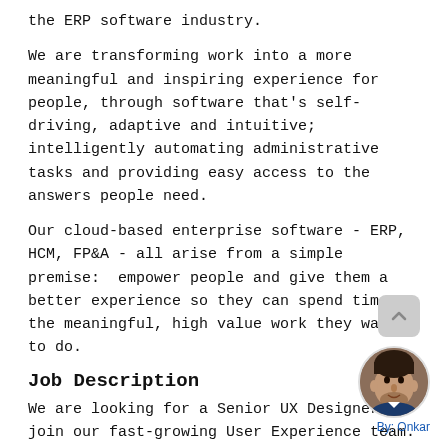the ERP software industry.
We are transforming work into a more meaningful and inspiring experience for people, through software that's self-driving, adaptive and intuitive; intelligently automating administrative tasks and providing easy access to the answers people need.
Our cloud-based enterprise software - ERP, HCM, FP&A - all arise from a simple premise: empower people and give them a better experience so they can spend time on the meaningful, high value work they want to do.
Job Description
We are looking for a Senior UX Designer to join our fast-growing User Experience team. The right candidate will be able to translate business needs into customer-focused solutions and understand and